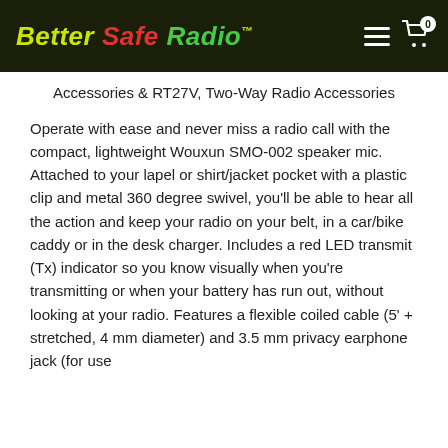Better Safe Radio™
Accessories & RT27V, Two-Way Radio Accessories
Operate with ease and never miss a radio call with the compact, lightweight Wouxun SMO-002 speaker mic. Attached to your lapel or shirt/jacket pocket with a plastic clip and metal 360 degree swivel, you'll be able to hear all the action and keep your radio on your belt, in a car/bike caddy or in the desk charger. Includes a red LED transmit (Tx) indicator so you know visually when you're transmitting or when your battery has run out, without looking at your radio. Features a flexible coiled cable (5' + stretched, 4 mm diameter) and 3.5 mm privacy earphone jack (for use